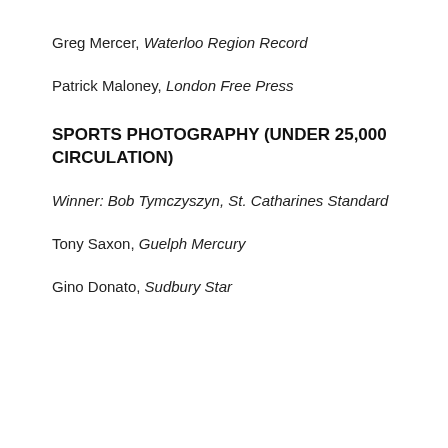Greg Mercer, Waterloo Region Record
Patrick Maloney, London Free Press
SPORTS PHOTOGRAPHY (UNDER 25,000 CIRCULATION)
Winner: Bob Tymczyszyn, St. Catharines Standard
Tony Saxon, Guelph Mercury
Gino Donato, Sudbury Star